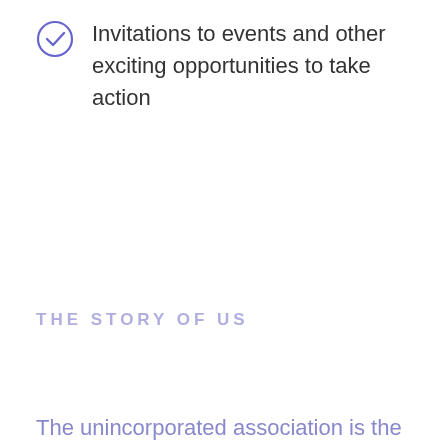Invitations to events and other exciting opportunities to take action
THE STORY OF US
The unincorporated association is the